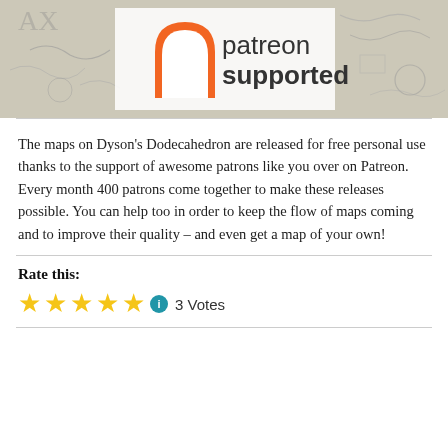[Figure (logo): Patreon Supported banner with orange arch/doorway logo and text 'patreon supported' on a map background]
The maps on Dyson's Dodecahedron are released for free personal use thanks to the support of awesome patrons like you over on Patreon. Every month 400 patrons come together to make these releases possible. You can help too in order to keep the flow of maps coming and to improve their quality – and even get a map of your own!
Rate this:
★★★★★ ℹ 3 Votes